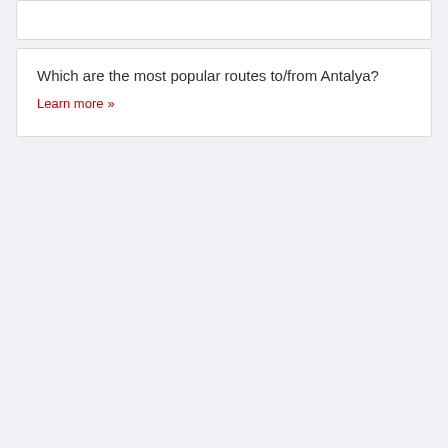Which are the most popular routes to/from Antalya?
Learn more »